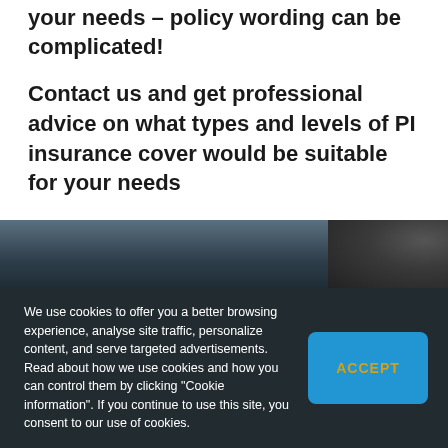your needs – policy wording can be complicated!
Contact us and get professional advice on what types and levels of PI insurance cover would be suitable for your needs
[Figure (photo): Dark blue-grey photograph background band, partially showing a blurred interior scene]
We use cookies to offer you a better browsing experience, analyse site traffic, personalize content, and serve targeted advertisements. Read about how we use cookies and how you can control them by clicking "Cookie information". If you continue to use this site, you consent to our use of cookies.